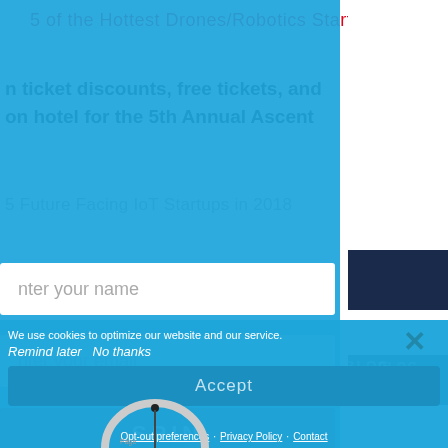5 of the Hottest Drones/Robotics Startups in 2018
n ticket discounts, free tickets, and on hotel for the 5th Annual Ascent
5 Future Facing IoT Startups in 2018
Enter your name
Enter your email
SPIN
BLOG
CAREERS
We use cookies to optimize our website and our service.
Remind later   No thanks
Accept
Opt-out preferences   Privacy Policy   Contact